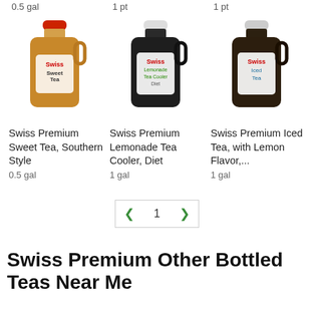0.5 gal
1 pt
1 pt
[Figure (photo): Swiss Premium Sweet Tea, Southern Style bottle (0.5 gal jug with red cap and brown liquid)]
[Figure (photo): Swiss Premium Lemonade Tea Cooler Diet bottle (1 gal jug with white cap and dark liquid)]
[Figure (photo): Swiss Premium Iced Tea with Lemon Flavor bottle (1 gal jug with white cap and dark liquid)]
Swiss Premium Sweet Tea, Southern Style
0.5 gal
Swiss Premium Lemonade Tea Cooler, Diet
1 gal
Swiss Premium Iced Tea, with Lemon Flavor,...
1 gal
1
Swiss Premium Other Bottled Teas Near Me